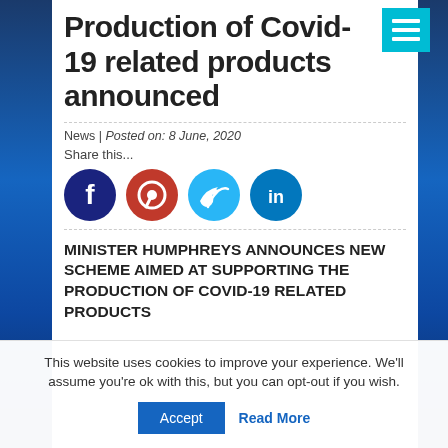Production of Covid-19 related products announced
News | Posted on: 8 June, 2020
Share this...
[Figure (infographic): Social media share buttons: Facebook (dark blue circle with f), Pinterest (red circle with P logo), Twitter (light blue circle with bird), LinkedIn (teal circle with 'in')]
MINISTER HUMPHREYS ANNOUNCES NEW SCHEME AIMED AT SUPPORTING THE PRODUCTION OF COVID-19 RELATED PRODUCTS
This website uses cookies to improve your experience. We'll assume you're ok with this, but you can opt-out if you wish.